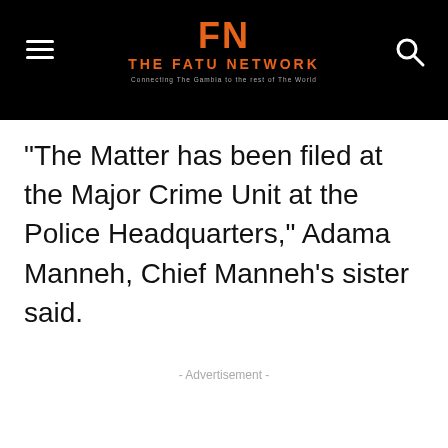THE FATU NETWORK — Connecting The Gambia to the rest of The World
“The Matter has been filed at the Major Crime Unit at the Police Headquarters,” Adama Manneh, Chief Manneh’s sister said.
- Advertisement -